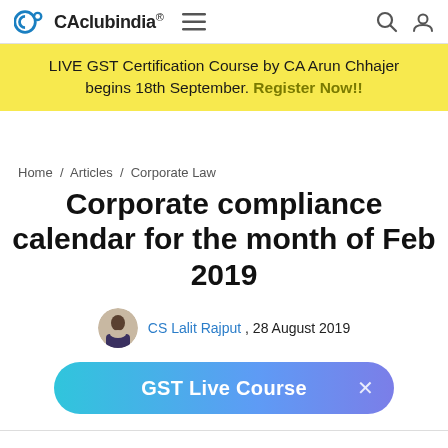CAclubindia® — navigation bar with logo, hamburger, search, and user icons
LIVE GST Certification Course by CA Arun Chhajer begins 18th September. Register Now!!
Home / Articles / Corporate Law
Corporate compliance calendar for the month of Feb 2019
CS Lalit Rajput , 28 August 2019
[Figure (other): GST Live Course promotional banner button with close (×) icon]